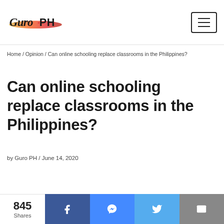Guro PH [logo] [menu button]
Home / Opinion / Can online schooling replace classrooms in the Philippines?
Can online schooling replace classrooms in the Philippines?
by Guro PH / June 14, 2020
845 Shares [Facebook] [Messenger] [Twitter] [Email]